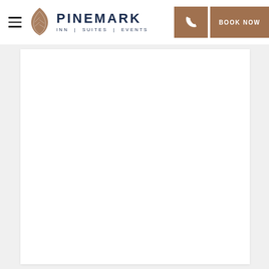PINEMARK INN | SUITES | EVENTS
[Figure (screenshot): White content area below the navigation bar, mostly blank white card on a light grey background]